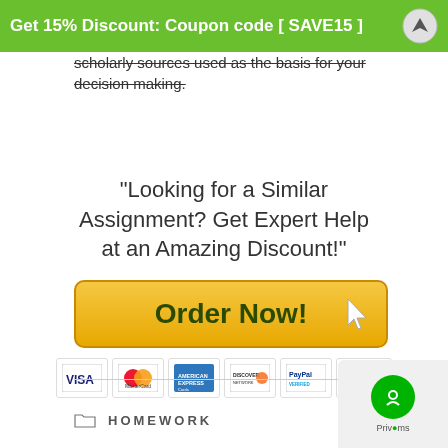Get 15% Discount: Coupon code [ SAVE15 ]
scholarly sources used as the basis for your decision making.
"Looking for a Similar Assignment? Get Expert Help at an Amazing Discount!"
[Figure (other): Order Now button with golden/yellow gradient background and cursor icon, with payment icons below (VISA, MasterCard, American Express, Discover, PayPal, 100% Secure)]
HOMEWORK